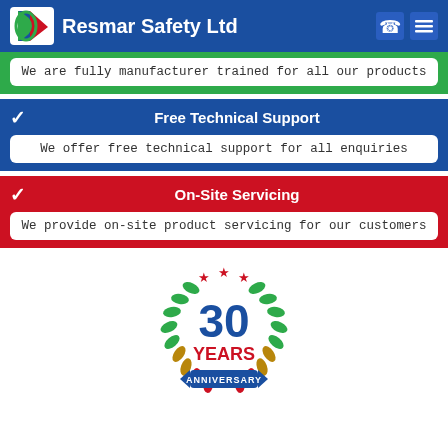Resmar Safety Ltd
We are fully manufacturer trained for all our products
Free Technical Support
We offer free technical support for all enquiries
On-Site Servicing
We provide on-site product servicing for our customers
[Figure (logo): 30 Years Anniversary badge with laurel wreath, red stars, and blue ribbon]